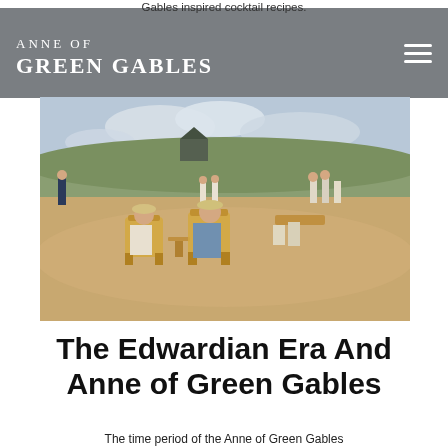Gables inspired cocktail recipes.
ANNE OF GREEN GABLES
[Figure (photo): Period photograph or film still showing people in Edwardian-era clothing on a sandy beach with grass dunes in the background. Several figures sit in wicker chairs around a small table in the foreground, while others stand or walk in the background.]
The Edwardian Era And Anne of Green Gables
The time period of the Anne of Green Gables